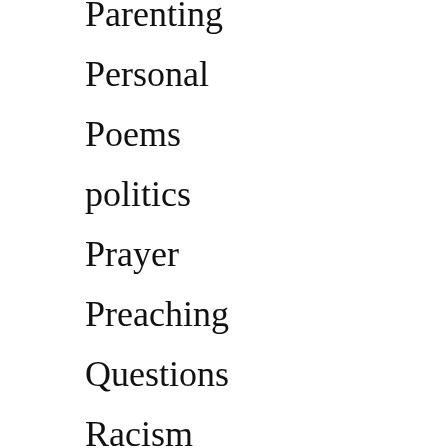Parenting
Personal
Poems
politics
Prayer
Preaching
Questions
Racism
Recommended Books
Salvation
Satan & Demons